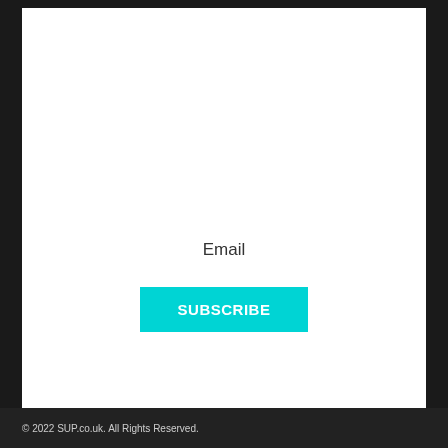Email
SUBSCRIBE
© 2022 SUP.co.uk. All Rights Reserved.